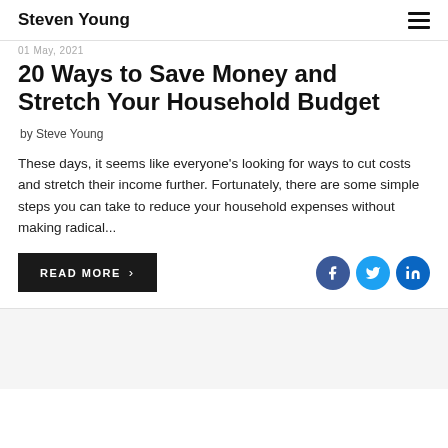Steven Young
01 May, 2021
20 Ways to Save Money and Stretch Your Household Budget
by Steve Young
These days, it seems like everyone's looking for ways to cut costs and stretch their income further. Fortunately, there are some simple steps you can take to reduce your household expenses without making radical...
READ MORE >